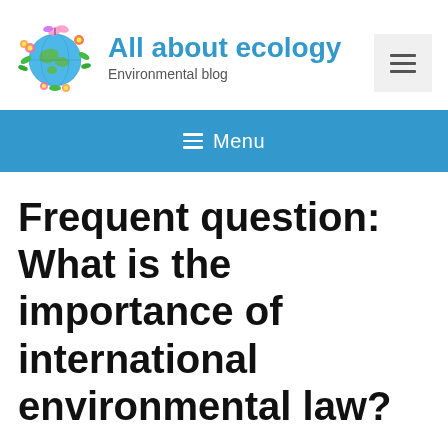[Figure (logo): Ecology globe logo with colorful plants and butterflies surrounding a blue Earth]
All about ecology
Environmental blog
[Figure (other): Hamburger menu button icon with three horizontal lines]
≡ Menu
Frequent question: What is the importance of international environmental law?